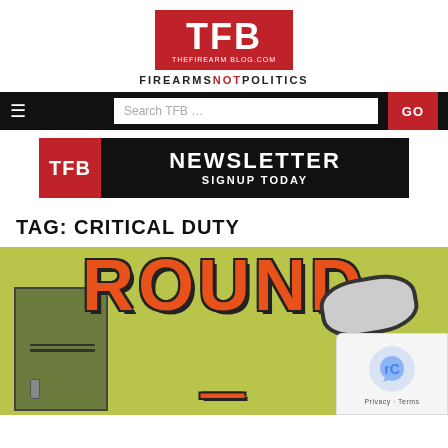[Figure (logo): TFB (The Firearm Blog) logo with red background, white TFB text, URL thefirearm blog.com, and tagline FIREARMS NOT POLITICS]
[Figure (screenshot): Navigation bar with hamburger menu, search box reading 'Search TFB ...', and red GO button]
[Figure (infographic): TFB Newsletter signup banner with red TFB box on left and NEWSLETTER SIGNUP TODAY text]
TAG: CRITICAL DUTY
[Figure (photo): Article thumbnail showing stylized text ROUND in orange/red gradient with yellow-green background, a cabinet/safe on the left and a mirror on the right, with a reCAPTCHA privacy overlay in the bottom right]